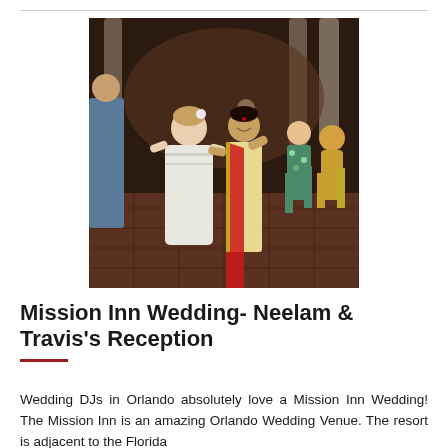[Figure (photo): Wedding reception photo showing women dancing on a dance floor. A bride in white and a woman in a red and gold Indian sari are dancing together in the foreground, with other guests dancing in the background inside an elegant venue with columns.]
Mission Inn Wedding- Neelam & Travis's Reception
Wedding DJs in Orlando absolutely love a Mission Inn Wedding! The Mission Inn is an amazing Orlando Wedding Venue. The resort is adjacent to the Florida